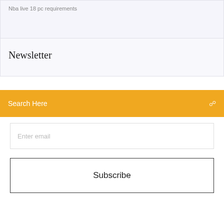Nba live 18 pc requirements
Newsletter
Search Here
Enter email
Subscribe